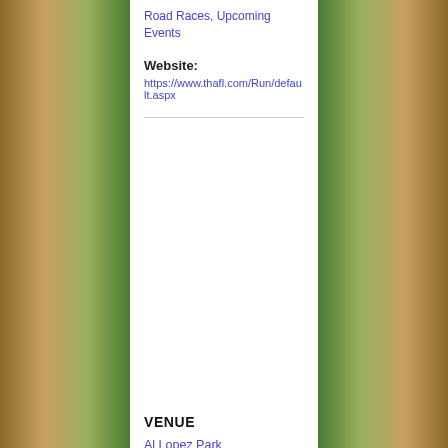Road Races, Upcoming Events
Website:
https://www.thafl.com/Run/default.aspx
VENUE
Al Lopez Park